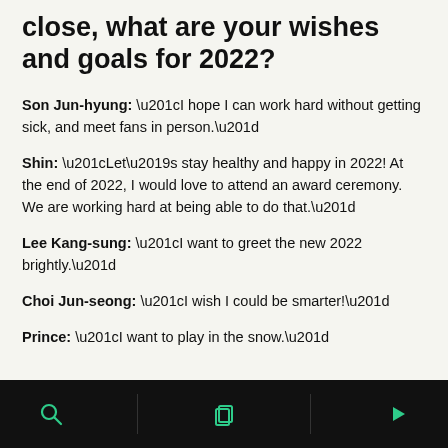close, what are your wishes and goals for 2022?
Son Jun-hyung: “I hope I can work hard without getting sick, and meet fans in person.”
Shin: “Let’s stay healthy and happy in 2022! At the end of 2022, I would love to attend an award ceremony. We are working hard at being able to do that.”
Lee Kang-sung: “I want to greet the new 2022 brightly.”
Choi Jun-seong: “I wish I could be smarter!”
Prince: “I want to play in the snow.”
navigation bar with search, copy, and play icons